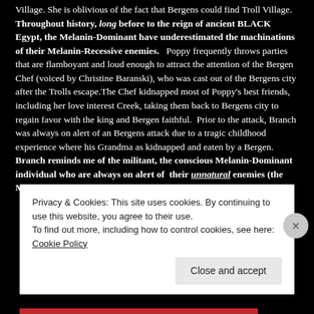Village. She is oblivious of the fact that Bergens could find Troll Village. Throughout history, long before to the reign of ancient BLACK Egypt, the Melanin-Dominant have underestimated the machinations of their Melanin-Recessive enemies.   Poppy frequently throws parties that are flamboyant and loud enough to attract the attention of the Bergen Chef (voiced by Christine Baranski), who was cast out of the Bergens city after the Trolls escape.The Chef kidnapped most of Poppy's best friends, including her love interest Creek, taking them back to Bergens city to regain favor with the king and Bergen faithful.  Prior to the attack, Branch was always on alert of an Bergens attack due to a tragic childhood experience where his Grandma as kidnapped and eaten by a Bergen. Branch reminds me of the militant, the conscious Melanin-Dominant individual who are always on alert of their unnatural enemies (the Melanin-Recessive).
Privacy & Cookies: This site uses cookies. By continuing to use this website, you agree to their use.
To find out more, including how to control cookies, see here: Cookie Policy
Close and accept